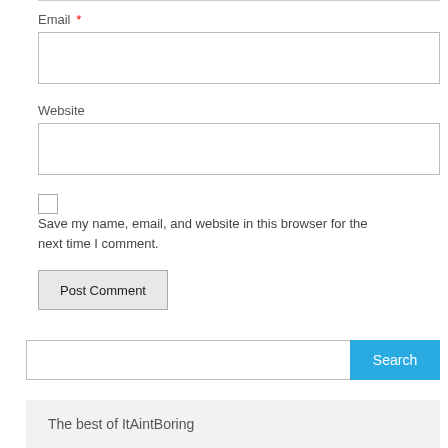Email *
[Figure (screenshot): Empty email input text field with border]
Website
[Figure (screenshot): Empty website input text field with border]
Save my name, email, and website in this browser for the next time I comment.
[Figure (screenshot): Post Comment button with gray background]
[Figure (screenshot): Search bar with blue Search button]
The best of ItAintBoring